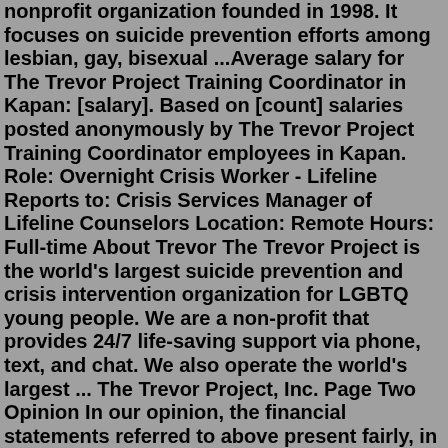nonprofit organization founded in 1998. It focuses on suicide prevention efforts among lesbian, gay, bisexual ...Average salary for The Trevor Project Training Coordinator in Kapan: [salary]. Based on [count] salaries posted anonymously by The Trevor Project Training Coordinator employees in Kapan. Role: Overnight Crisis Worker - Lifeline Reports to: Crisis Services Manager of Lifeline Counselors Location: Remote Hours: Full-time About Trevor The Trevor Project is the world's largest suicide prevention and crisis intervention organization for LGBTQ young people. We are a non-profit that provides 24/7 life-saving support via phone, text, and chat. We also operate the world's largest ... The Trevor Project, Inc. Page Two Opinion In our opinion, the financial statements referred to above present fairly, in all material respects, the financial position of The Trevor Project, Inc. as of July 31, 2020 and 2019, and the changes in its netHow much do The Trevor Project employees make? Glassdoor has salaries, wages, tips, bonuses, and hourly pay based